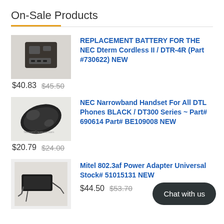On-Sale Products
[Figure (photo): Black NEC battery pack for Dterm Cordless II / DTR-4R]
REPLACEMENT BATTERY FOR THE NEC Dterm Cordless II / DTR-4R (Part #730622) NEW
$40.83  $45.50
[Figure (photo): Black NEC Narrowband handset for DTL phones]
NEC Narrowband Handset For All DTL Phones BLACK / DT300 Series ~ Part# 690614 Part# BE109008 NEW
$20.79  $24.00
[Figure (photo): Mitel 802.3af Power Adapter with cable]
Mitel 802.3af Power Adapter Universal Stock# 51015131 NEW
$44.50  $53.70